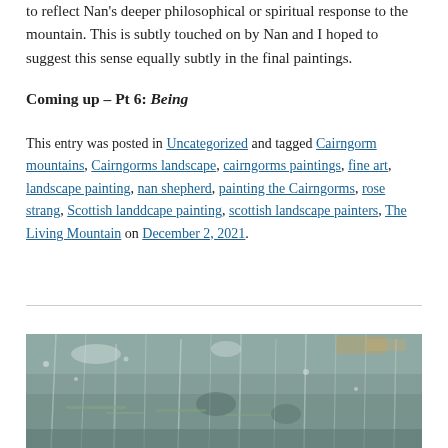to reflect Nan's deeper philosophical or spiritual response to the mountain. This is subtly touched on by Nan and I hoped to suggest this sense equally subtly in the final paintings.
Coming up – Pt 6: Being
This entry was posted in Uncategorized and tagged Cairngorm mountains, Cairngorms landscape, cairngorms paintings, fine art, landscape painting, nan shepherd, painting the Cairngorms, rose strang, Scottish landdcape painting, scottish landscape painters, The Living Mountain on December 2, 2021.
[Figure (photo): Abstract landscape painting in muted green and grey tones, partially visible at bottom of page]